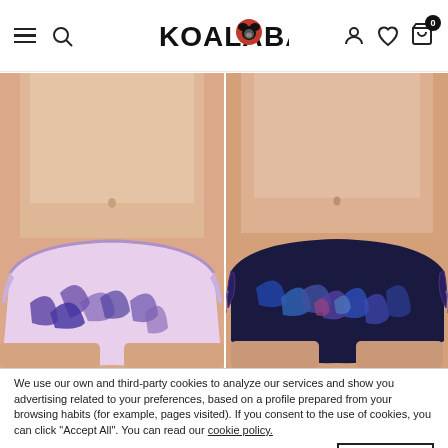Koala Bay — navigation header with hamburger menu, search, logo, account, wishlist, and cart icons
[Figure (photo): Two side-by-side photos of models wearing bikini bottoms: left shows a light pink/lavender tropical leaf print bikini bottom; right shows a dark navy blue tropical leaf print tie-side bikini bottom]
We use our own and third-party cookies to analyze our services and show you advertising related to your preferences, based on a profile prepared from your browsing habits (for example, pages visited). If you consent to the use of cookies, you can click "Accept All". You can read our cookie policy.
Config   Accept all